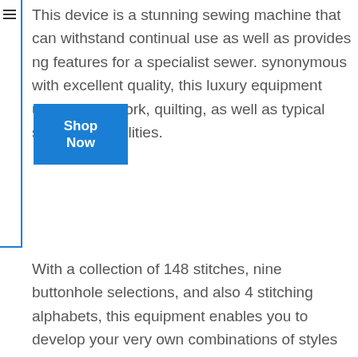This device is a stunning sewing machine that can withstand continual use as well as provides ng features for a specialist sewer. synonymous with excellent quality, this luxury equipment uses needlework, quilting, as well as typical sewing capabilities.
[Figure (other): A blue 'Shop Now' button overlaid on the text]
With a collection of 148 stitches, nine buttonhole selections, and also 4 stitching alphabets, this equipment enables you to develop your very own combinations of styles by remembering your precise stitch specifications and fabrics in the onboard memory.